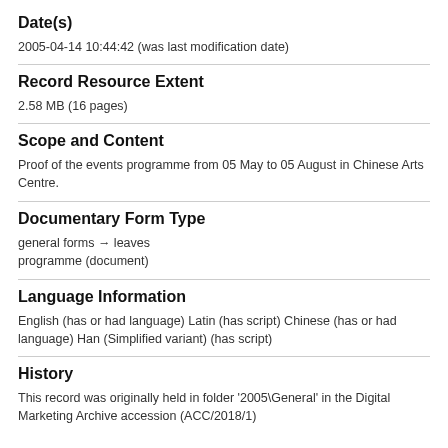Date(s)
2005-04-14 10:44:42 (was last modification date)
Record Resource Extent
2.58 MB (16 pages)
Scope and Content
Proof of the events programme from 05 May to 05 August in Chinese Arts Centre.
Documentary Form Type
general forms → leaves
programme (document)
Language Information
English (has or had language) Latin (has script) Chinese (has or had language) Han (Simplified variant) (has script)
History
This record was originally held in folder '2005\General' in the Digital Marketing Archive accession (ACC/2018/1)